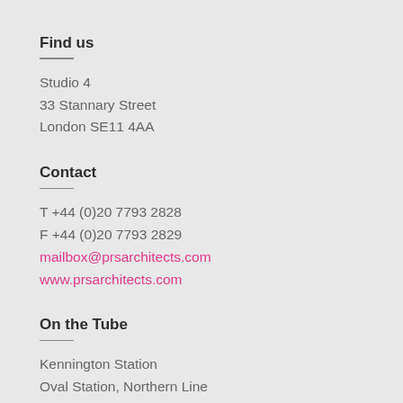Find us
Studio 4
33 Stannary Street
London SE11 4AA
Contact
T +44 (0)20 7793 2828
F +44 (0)20 7793 2829
mailbox@prsarchitects.com
www.prsarchitects.com
On the Tube
Kennington Station
Oval Station, Northern Line
By bus